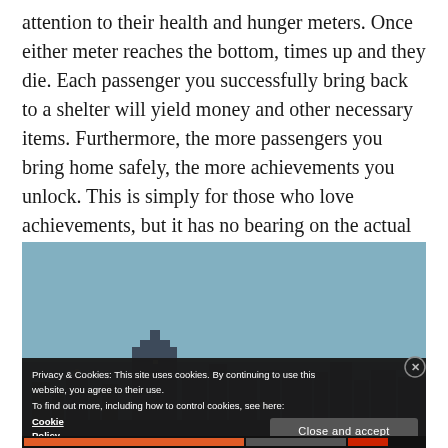attention to their health and hunger meters. Once either meter reaches the bottom, times up and they die. Each passenger you successfully bring back to a shelter will yield money and other necessary items. Furthermore, the more passengers you bring home safely, the more achievements you unlock. This is simply for those who love achievements, but it has no bearing on the actual content of the game.
[Figure (screenshot): Game screenshot showing a dark silhouette cityscape against a teal/steel-blue sky background, with a cookie consent overlay banner at the bottom.]